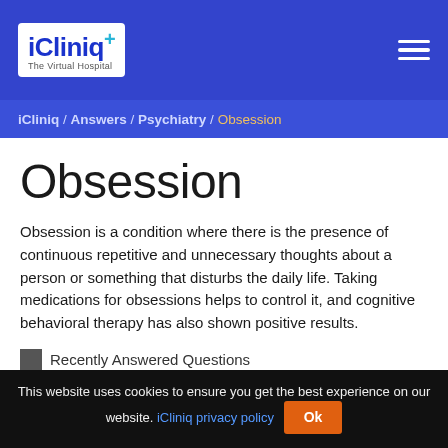iCliniq The Virtual Hospital — navigation header with logo and hamburger menu
iCliniq / Answers / Psychiatry / Obsession
Obsession
Obsession is a condition where there is the presence of continuous repetitive and unnecessary thoughts about a person or something that disturbs the daily life. Taking medications for obsessions helps to control it, and cognitive behavioral therapy has also shown positive results.
Recently Answered Questions
This website uses cookies to ensure you get the best experience on our website. iCliniq privacy policy Ok